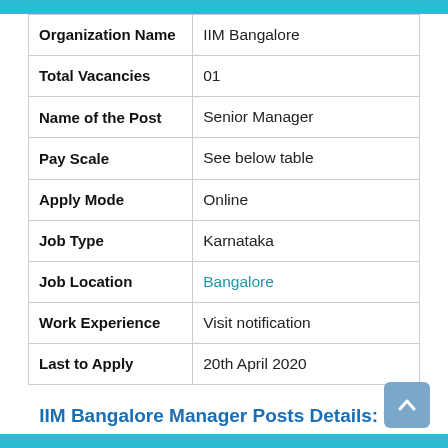| Field | Value |
| --- | --- |
| Organization Name | IIM Bangalore |
| Total Vacancies | 01 |
| Name of the Post | Senior Manager |
| Pay Scale | See below table |
| Apply Mode | Online |
| Job Type | Karnataka |
| Job Location | Bangalore |
| Work Experience | Visit notification |
| Last to Apply | 20th April 2020 |
IIM Bangalore Manager Posts Details: for Library Trainee Jobs